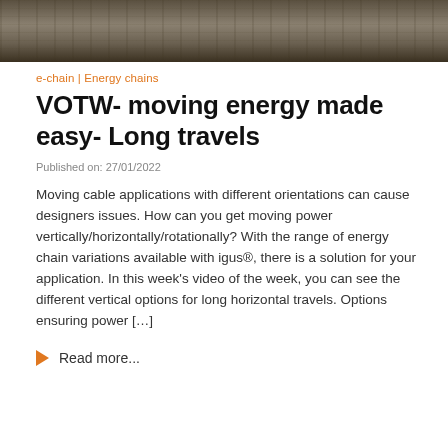[Figure (photo): Photo of industrial energy chain/cable carrier system on rails, viewed from above]
e-chain | Energy chains
VOTW- moving energy made easy- Long travels
Published on: 27/01/2022
Moving cable applications with different orientations can cause designers issues. How can you get moving power vertically/horizontally/rotationally? With the range of energy chain variations available with igus®, there is a solution for your application. In this week's video of the week, you can see the different vertical options for long horizontal travels. Options ensuring power […]
Read more...